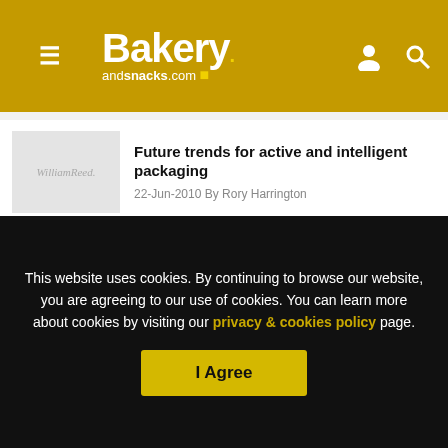Bakery andsnacks.com
Future trends for active and intelligent packaging
22-Jun-2010 By Rory Harrington
Spice Time moves to larger premises
17-May-2010 By Elaine Watson
This website uses cookies. By continuing to browse our website, you are agreeing to our use of cookies. You can learn more about cookies by visiting our privacy & cookies policy page.
I Agree